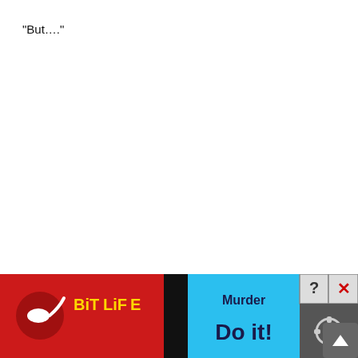“But….”
“Sharing life is very difficult and precious. Fren has come into my [obscured] he way as[obscured] my life,
[Figure (screenshot): Mobile game advertisement overlay showing BitLife app logo on red background on left, a knife/dagger icon in center, 'Murder' label with 'Do it!' button in blue center section, and game UI buttons (question mark, X close button, gear/settings icon) on right dark section. A grey scroll-up arrow button appears at far right.]